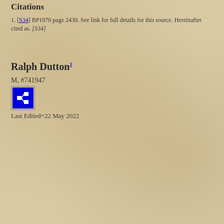Citations
[S34] BP1970 page 2430. See link for full details for this source. Hereinafter cited as. [S34]
Ralph Dutton1
M, #741947
[Figure (other): Blue icon button with a network/hierarchy diagram symbol in white]
Last Edited=22 May 2022